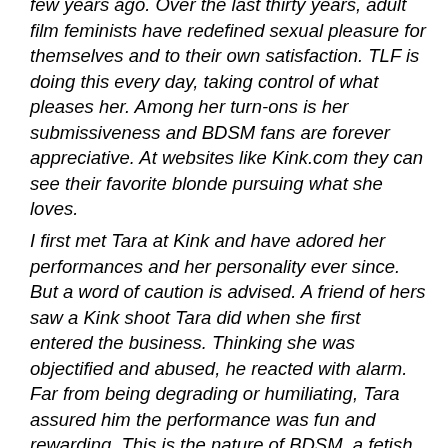few years ago. Over the last thirty years, adult film feminists have redefined sexual pleasure for themselves and to their own satisfaction. TLF is doing this every day, taking control of what pleases her. Among her turn-ons is her submissiveness and BDSM fans are forever appreciative. At websites like Kink.com they can see their favorite blonde pursuing what she loves.
I first met Tara at Kink and have adored her performances and her personality ever since. But a word of caution is advised. A friend of hers saw a Kink shoot Tara did when she first entered the business. Thinking she was objectified and abused, he reacted with alarm. Far from being degrading or humiliating, Tara assured him the performance was fun and rewarding. This is the nature of BDSM, a fetish that is perplexing for many. So, read on and find out who this porn charmer really is, at least from